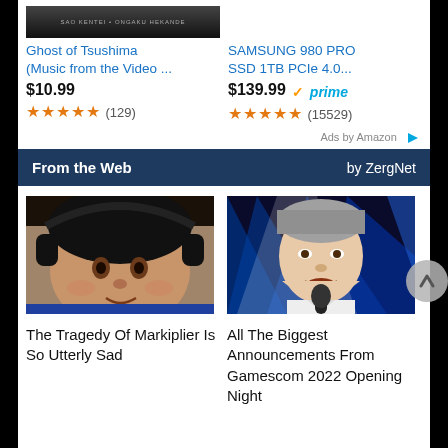[Figure (screenshot): Amazon product image for Ghost of Tsushima soundtrack (partial, top cropped)]
Ghost of Tsushima (Music from the Video ...
$10.99
★★★★★ (129)
SAMSUNG 980 PRO SSD 1TB PCIe 4.0...
$139.99 ✓prime
★★★★★ (15529)
Ads by Amazon
From the Web   by ZergNet
[Figure (photo): Photo of Markiplier (gaming YouTuber) with headphones, close-up face shot]
[Figure (photo): Photo of a man speaking at a microphone on a blue-lit stage]
The Tragedy Of Markiplier Is So Utterly Sad
All The Biggest Announcements From Gamescom 2022 Opening Night